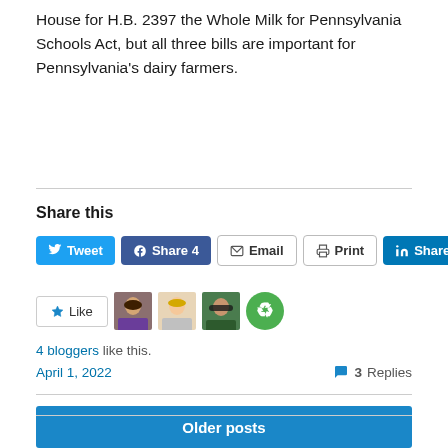House for H.B. 2397 the Whole Milk for Pennsylvania Schools Act, but all three bills are important for Pennsylvania's dairy farmers.
Share this
[Figure (infographic): Social share buttons: Tweet (Twitter), Share 4 (Facebook), Email, Print, Share (LinkedIn)]
[Figure (infographic): Like button with 4 blogger avatars]
4 bloggers like this.
April 1, 2022   3 Replies
Older posts